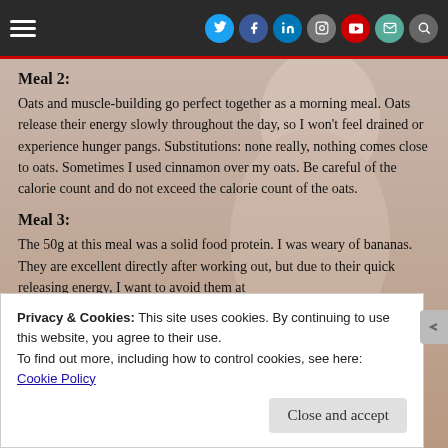Navigation bar with hamburger menu and social icons (Twitter, Facebook, LinkedIn, Instagram, YouTube, Mail, Search)
Meal 2:
Oats and muscle-building go perfect together as a morning meal. Oats release their energy slowly throughout the day, so I won't feel drained or experience hunger pangs. Substitutions: none really, nothing comes close to oats. Sometimes I used cinnamon over my oats. Be careful of the calorie count and do not exceed the calorie count of the oats.
Meal 3:
The 50g at this meal was a solid food protein. I was weary of bananas. They are excellent directly after working out, but due to their quick releasing energy, I want to avoid them at
Privacy & Cookies: This site uses cookies. By continuing to use this website, you agree to their use.
To find out more, including how to control cookies, see here:
Cookie Policy
Close and accept